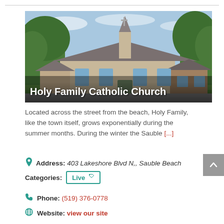[Figure (photo): Exterior photo of Holy Family Catholic Church building with trees and a cross steeple visible against a blue sky. Text overlay reads 'Holy Family Catholic Church'.]
Located across the street from the beach, Holy Family, like the town itself, grows exponentially during the summer months. During the winter the Sauble [...]
Address: 403 Lakeshore Blvd N,, Sauble Beach
Categories: Live
Phone: (519) 376-0778
Website: view our site